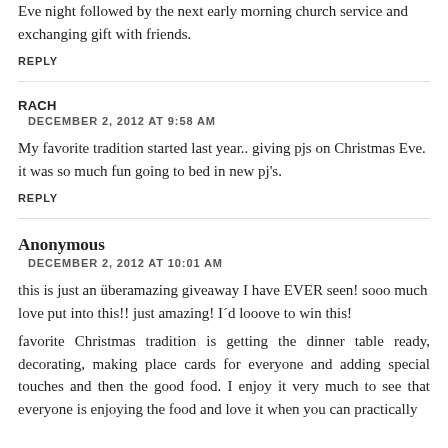Eve night followed by the next early morning church service and exchanging gift with friends.
REPLY
RACH
DECEMBER 2, 2012 AT 9:58 AM
My favorite tradition started last year.. giving pjs on Christmas Eve. it was so much fun going to bed in new pj's.
REPLY
Anonymous
DECEMBER 2, 2012 AT 10:01 AM
this is just an überamazing giveaway I have EVER seen! sooo much love put into this!! just amazing! I´d looove to win this!
favorite Christmas tradition is getting the dinner table ready, decorating, making place cards for everyone and adding special touches and then the good food. I enjoy it very much to see that everyone is enjoying the food and love it when you can practically